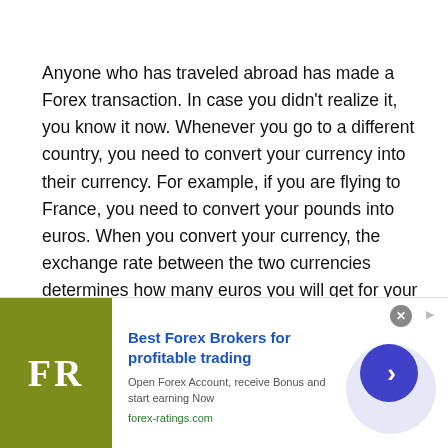Anyone who has traveled abroad has made a Forex transaction. In case you didn't realize it, you know it now. Whenever you go to a different country, you need to convert your currency into their currency. For example, if you are flying to France, you need to convert your pounds into euros. When you convert your currency, the exchange rate between the two currencies determines how many euros you will get for your pounds. The Forex exchange rate fluctuates continuously. In other words, it is never stable.
[Figure (other): Advertisement banner for forex-ratings.com: 'Best Forex Brokers for profitable trading'. Shows FR logo on olive/green background, text content, and a purple circular play/next button. Close button (X) in top right.]